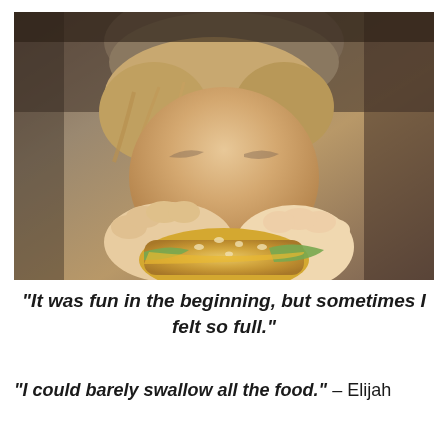[Figure (photo): A young person with brown hair and a knit hat biting into a large hamburger/sandwich, close-up shot with warm tones]
“It was fun in the beginning, but sometimes I felt so full.”
“I could barely swallow all the food.” – Elijah